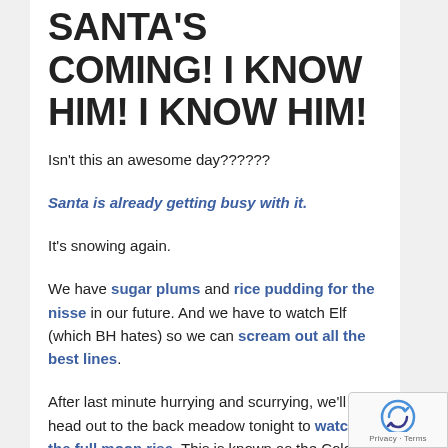SANTA'S COMING! I KNOW HIM! I KNOW HIM!
Isn’t this an awesome day??????
Santa is already getting busy with it.
It’s snowing again.
We have sugar plums and rice pudding for the nisse in our future. And we have to watch Elf (which BH hates) so we can scream out all the best lines.
After last minute hurrying and scurrying, we’ll head out to the back meadow tonight to watch the full moon rise. This is known as the Cold Moon or the Long Night’s Moon. And then I will put on my kerchief and Papa will put on his cap,